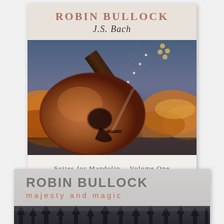[Figure (photo): Album cover for Robin Bullock - J.S. Bach Suites for Mandolin Volume One. Top header shows 'ROBIN BULLOCK' in rose-colored uppercase letters and 'J.S. Bach' in italic script below. Center image shows a mandolin instrument against a dramatic sky with orange and golden clouds and blue tones. Bottom text reads 'Suites for Mandolin  Volume One'.]
[Figure (photo): Partial album cover for Robin Bullock - Majesty and Magic. Gray/silver header area with 'ROBIN BULLOCK' in bold gray letters and 'majesty and magic' in spaced orange-brown lowercase letters. Bottom portion shows a dark forest/tree silhouette photo.]